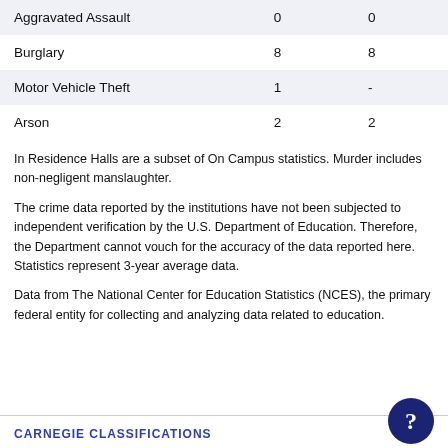| Crime Type | Col1 | Col2 |
| --- | --- | --- |
| Aggravated Assault | 0 | 0 |
| Burglary | 8 | 8 |
| Motor Vehicle Theft | 1 | - |
| Arson | 2 | 2 |
In Residence Halls are a subset of On Campus statistics. Murder includes non-negligent manslaughter.
The crime data reported by the institutions have not been subjected to independent verification by the U.S. Department of Education. Therefore, the Department cannot vouch for the accuracy of the data reported here. Statistics represent 3-year average data.
Data from The National Center for Education Statistics (NCES), the primary federal entity for collecting and analyzing data related to education.
CARNEGIE CLASSIFICATIONS